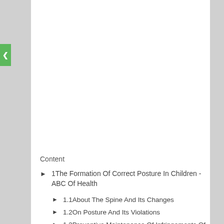Content
1The Formation Of Correct Posture In Children - ABC Of Health
1.1About The Spine And Its Changes
1.2On Posture And Its Violations
1.3Preventive Maintenance Of Infringements Of A...